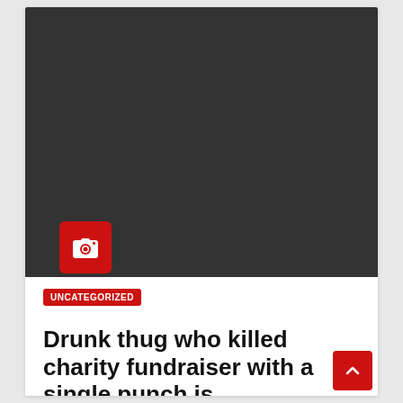[Figure (photo): Dark/black placeholder image area with a red camera icon box in the lower-left corner]
UNCATEGORIZED
Drunk thug who killed charity fundraiser with a single punch is